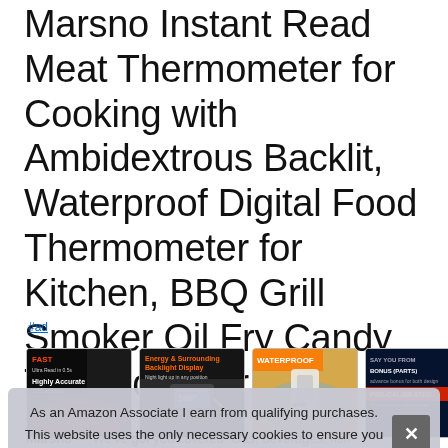Marsno Instant Read Meat Thermometer for Cooking with Ambidextrous Backlit, Waterproof Digital Food Thermometer for Kitchen, BBQ Grill Smoker Oil Fry Candy Thermometer
#ad
[Figure (photo): Four product thumbnail images of the Marsno meat thermometer showing different features: fast/accurate reading, backlit display, waterproof, and bonus features/pre-calibrated]
As an Amazon Associate I earn from qualifying purchases. This website uses the only necessary cookies to ensure you get the best experience on our website. More information
Marsno — We've got you covered. Gas, beverages, fish